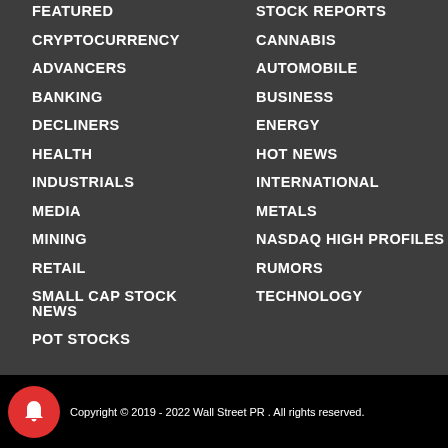FEATURED
CRYPTOCURRENCY
ADVANCERS
BANKING
DECLINERS
HEALTH
INDUSTRIALS
MEDIA
MINING
RETAIL
SMALL CAP STOCK NEWS
POT STOCKS
STOCK REPORTS
CANNABIS
AUTOMOBILE
BUSINESS
ENERGY
HOT NEWS
INTERNATIONAL
METALS
NASDAQ HIGH PROFILES
RUMORS
TECHNOLOGY
Copyright © 2019 - 2022 Wall Street PR . All rights reserved.